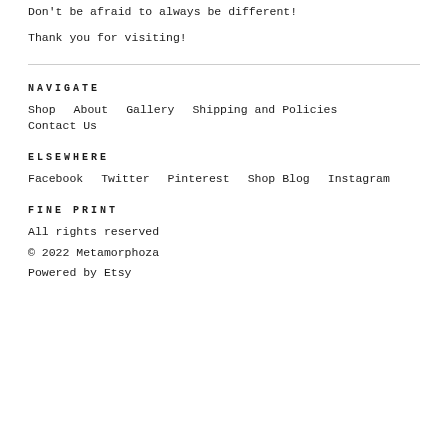Don't be afraid to always be different!
Thank you for visiting!
NAVIGATE
Shop    About    Gallery    Shipping and Policies    Contact Us
ELSEWHERE
Facebook    Twitter    Pinterest    Shop Blog    Instagram
FINE PRINT
All rights reserved
© 2022 Metamorphoza
Powered by Etsy